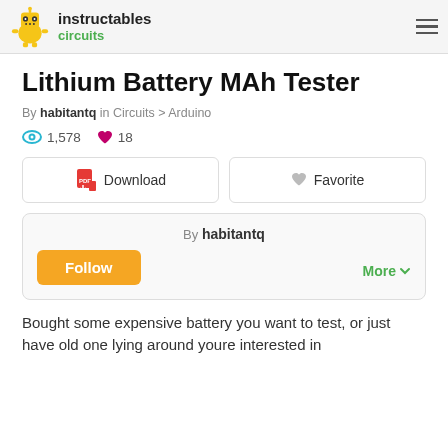instructables circuits
Lithium Battery MAh Tester
By habitantq in Circuits > Arduino
1,578 views  18 favorites
Download  Favorite
By habitantq
Follow
More
Bought some expensive battery you want to test, or just have old one lying around youre interested in